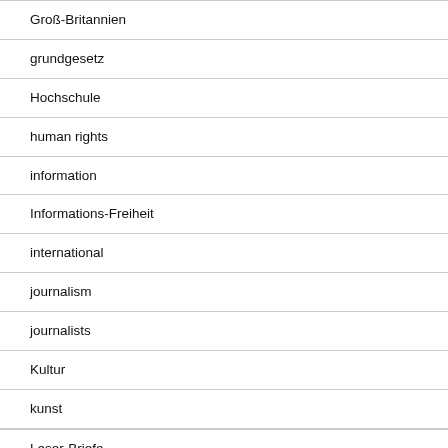Groß-Britannien
grundgesetz
Hochschule
human rights
information
Informations-Freiheit
international
journalism
journalists
Kultur
kunst
Leser-Briefe